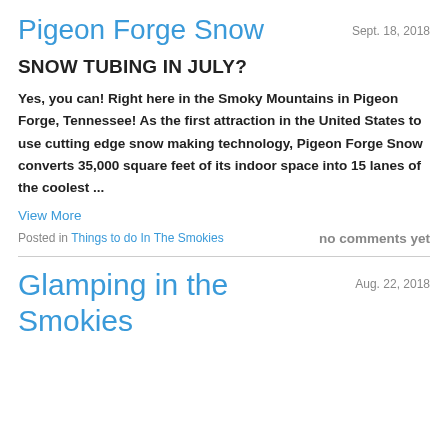Pigeon Forge Snow
Sept. 18, 2018
SNOW TUBING IN JULY?
Yes, you can! Right here in the Smoky Mountains in Pigeon Forge, Tennessee! As the first attraction in the United States to use cutting edge snow making technology, Pigeon Forge Snow converts 35,000 square feet of its indoor space into 15 lanes of the coolest ...
View More
Posted in Things to do In The Smokies   no comments yet
Glamping in the Smokies
Aug. 22, 2018